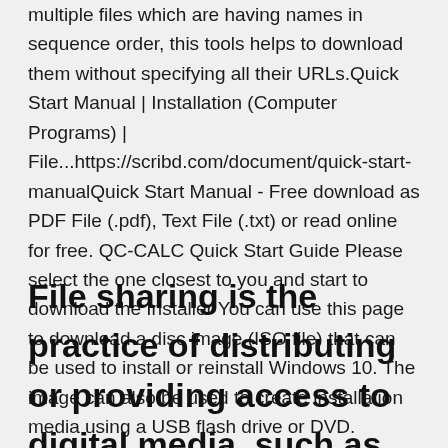multiple files which are having names in sequence order, this tools helps to download them without specifying all their URLs.Quick Start Manual | Installation (Computer Programs) | File...https://scribd.com/document/quick-start-manualQuick Start Manual - Free download as PDF File (.pdf), Text File (.txt) or read online for free. QC-CALC Quick Start Guide Please select the one closest to you and start to download the Installer You can use this page to download a disc image (ISO file) that can be used to install or reinstall Windows 10. The image can also be used to create installation media using a USB flash drive or DVD.
File sharing is the practice of distributing or providing access to digital media, such as computer Files placed in this folder also are typically accessible through a